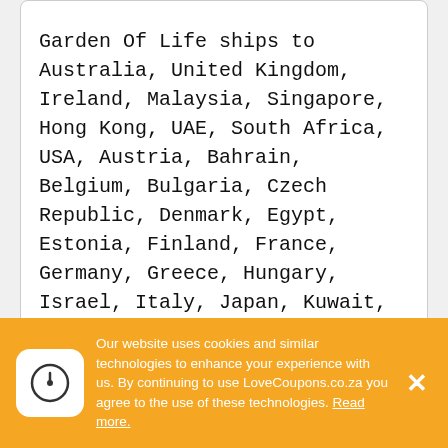Garden Of Life ships to Australia, United Kingdom, Ireland, Malaysia, Singapore, Hong Kong, UAE, South Africa, USA, Austria, Bahrain, Belgium, Bulgaria, Czech Republic, Denmark, Egypt, Estonia, Finland, France, Germany, Greece, Hungary, Israel, Italy, Japan, Kuwait, Lithuania, Luxembourg, Netherlands, Norway, Poland, Portugal, Qatar, Romania, Russia, Saudi Arabia, Slovenia, South Korea, Spain, Sweden, Switzerland, Taiwan, Thailand, Ukraine, Vietnam
About Garden Of Life
Garden Of Life are over what goes into our
Our website uses cookies and similar technologies to enhance your experience with us. By continuing to use LoveCoupons.co.za you agree to the use of these technologies. Read more.